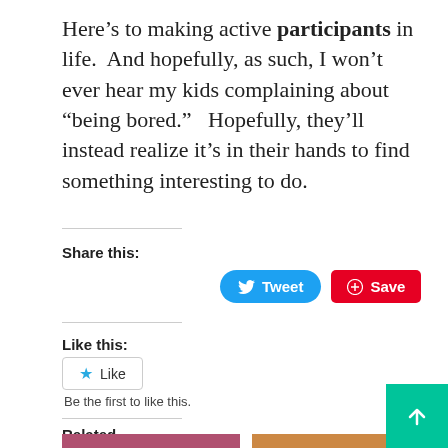Here's to making active participants in life.  And hopefully, as such, I won't ever hear my kids complaining about “being bored.”   Hopefully, they’ll instead realize it’s in their hands to find something interesting to do.
Share this:
[Figure (screenshot): Tweet button (blue, rounded) and Save button (red, rounded rectangle) for sharing]
Like this:
[Figure (screenshot): Like button with blue star icon]
Be the first to like this.
Related
[Figure (photo): Two thumbnail photos for related content]
[Figure (other): Scroll to top button, teal/green background with white up arrow]